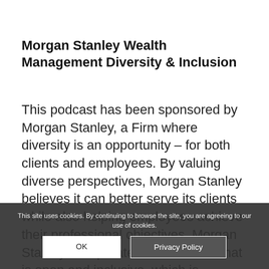Morgan Stanley Wealth Management Diversity & Inclusion
This podcast has been sponsored by Morgan Stanley, a Firm where diversity is an opportunity – for both clients and employees. By valuing diverse perspectives, Morgan Stanley believes it can better serve its clients while also helping employees achieve their professional objectives. Morgan Stanley's corporate culture is one that is open and inclusive, which is fundamental to its role as a globa...
This site uses cookies. By continuing to browse the site, you are agreeing to our use of cookies.